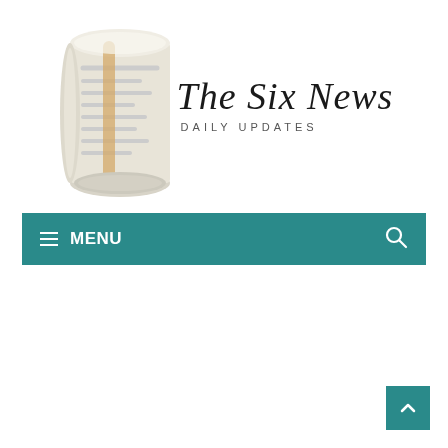[Figure (logo): The Six News logo with a rolled newspaper illustration on the left and the text 'The Six News' in serif font with 'DAILY UPDATES' subtitle below]
≡ MENU
[Figure (illustration): Teal scroll-to-top button with upward chevron arrow in bottom right corner]